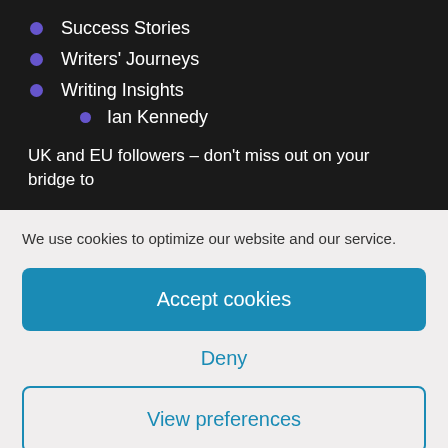Success Stories
Writers' Journeys
Writing Insights
Ian Kennedy
UK and EU followers – don't miss out on your bridge to
We use cookies to optimize our website and our service.
Accept cookies
Deny
View preferences
WriteMovies Privacy Policy   Privacy Statement